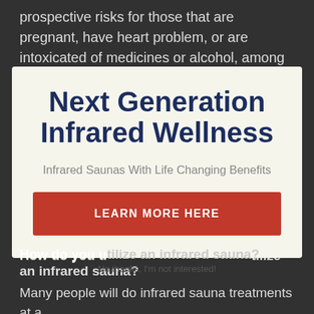prospective risks for those that are pregnant, have heart problem, or are intoxicated of medicines or alcohol, among others.
[Figure (screenshot): Modal popup overlay with close button (×) in top right corner]
Next Generation Infrared Wellness
Infrared Saunas With Life Changing Benefits
LEARN MORE HERE
No thanks, I'm not interested!
How do you u​se an infrared sauna?
Many people will do infrared sauna treatments at a